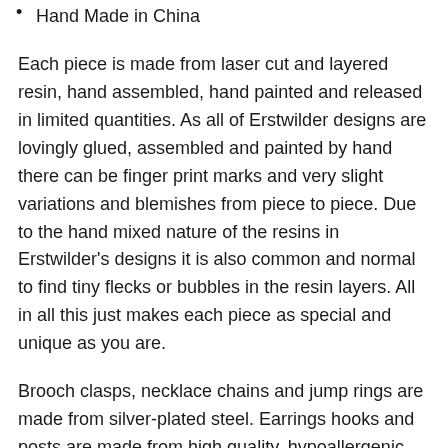Hand Made in China
Each piece is made from laser cut and layered resin, hand assembled, hand painted and released in limited quantities. As all of Erstwilder designs are lovingly glued, assembled and painted by hand there can be finger print marks and very slight variations and blemishes from piece to piece. Due to the hand mixed nature of the resins in Erstwilder's designs it is also common and normal to find tiny flecks or bubbles in the resin layers. All in all this just makes each piece as special and unique as you are.
Brooch clasps, necklace chains and jump rings are made from silver-plated steel. Earrings hooks and posts are made from high quality, hypoallergenic stainless steel.
Please be aware that resin is akin to ceramic and glass and therefore may be damaged if dropped or knocked